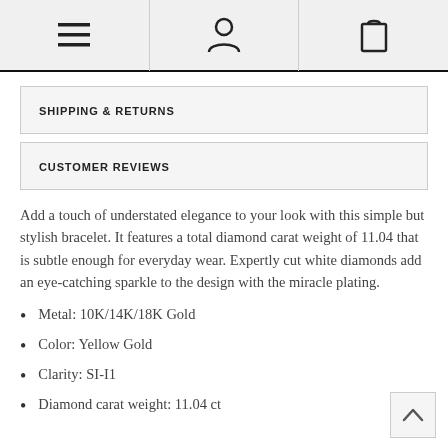Navigation icons: menu, user, cart
SHIPPING & RETURNS
CUSTOMER REVIEWS
Add a touch of understated elegance to your look with this simple but stylish bracelet. It features a total diamond carat weight of 11.04 that is subtle enough for everyday wear. Expertly cut white diamonds add an eye-catching sparkle to the design with the miracle plating.
Metal: 10K/14K/18K Gold
Color: Yellow Gold
Clarity: SI-I1
Diamond carat weight: 11.04 ct